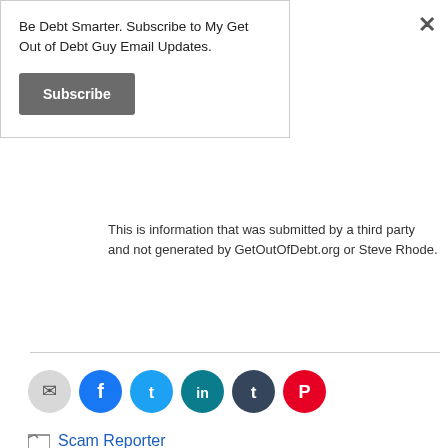Be Debt Smarter. Subscribe to My Get Out of Debt Guy Email Updates.
Subscribe
This is information that was submitted by a third party and not generated by GetOutOfDebt.org or Steve Rhode.
[Figure (infographic): Row of social sharing icons: email (grey), Facebook (blue), Twitter (light blue), LinkedIn (teal), Tumblr (dark navy), Pinterest (red)]
Scam Reporter
Student Assist Plus, Student Processing Center, studentassistplus.com,